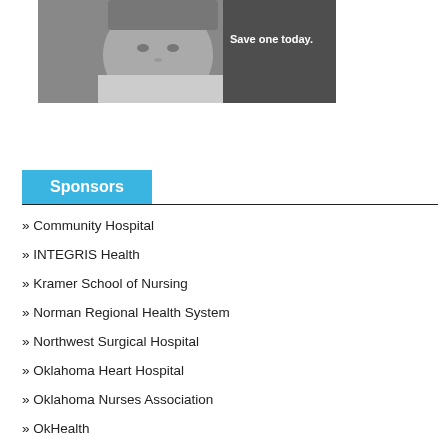[Figure (photo): Black and white photo of a child with text overlay 'Save one today.']
Sponsors
» Community Hospital
» INTEGRIS Health
» Kramer School of Nursing
» Norman Regional Health System
» Northwest Surgical Hospital
» Oklahoma Heart Hospital
» Oklahoma Nurses Association
» OkHealth